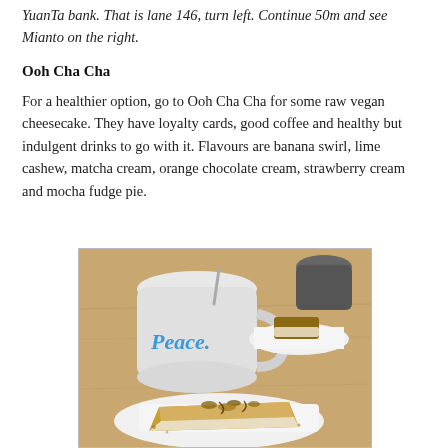YuanTa bank. That is lane 146, turn left. Continue 50m and see Mianto on the right.
Ooh Cha Cha
For a healthier option, go to Ooh Cha Cha for some raw vegan cheesecake. They have loyalty cards, good coffee and healthy but indulgent drinks to go with it. Flavours are banana swirl, lime cashew, matcha cream, orange chocolate cream, strawberry cream and mocha fudge pie.
[Figure (photo): A white mug with 'Peace.' written in blue script, alongside a plate with a slice of raw vegan cheesecake topped with nuts and chocolate, on a wooden table.]